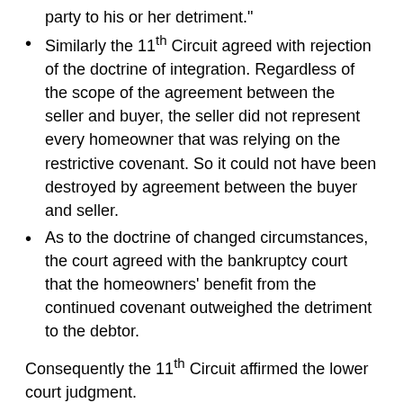party to his or her detriment.”
Similarly the 11th Circuit agreed with rejection of the doctrine of integration. Regardless of the scope of the agreement between the seller and buyer, the seller did not represent every homeowner that was relying on the restrictive covenant. So it could not have been destroyed by agreement between the buyer and seller.
As to the doctrine of changed circumstances, the court agreed with the bankruptcy court that the homeowners’ benefit from the continued covenant outweighed the detriment to the debtor.
Consequently the 11th Circuit affirmed the lower court judgment.
Restrictive covenants can be a murky area. Are they part of an executory contract that can be rejected? Are they